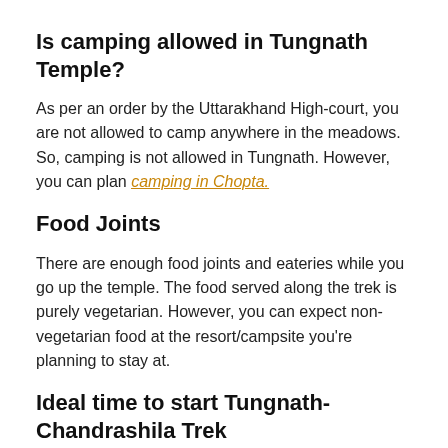Is camping allowed in Tungnath Temple?
As per an order by the Uttarakhand High-court, you are not allowed to camp anywhere in the meadows. So, camping is not allowed in Tungnath. However, you can plan camping in Chopta.
Food Joints
There are enough food joints and eateries while you go up the temple. The food served along the trek is purely vegetarian. However, you can expect non-vegetarian food at the resort/campsite you're planning to stay at.
Ideal time to start Tungnath- Chandrashila Trek
Ideally, you should leave for the Chopta-Tungnath-Chandrashila trek early in the morning. You should start the trekking at around 8.30 AM (during winters) and